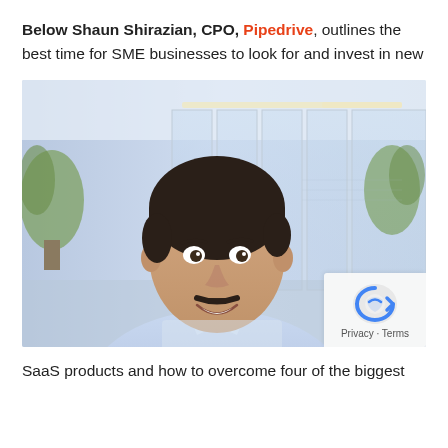Below Shaun Shirazian, CPO, Pipedrive, outlines the best time for SME businesses to look for and invest in new
[Figure (photo): Photo of Shaun Shirazian, a young man with dark hair and a mustache, smiling, wearing a light blue shirt, seated in a modern glass-walled office environment with plants visible in the background.]
SaaS products and how to overcome four of the biggest